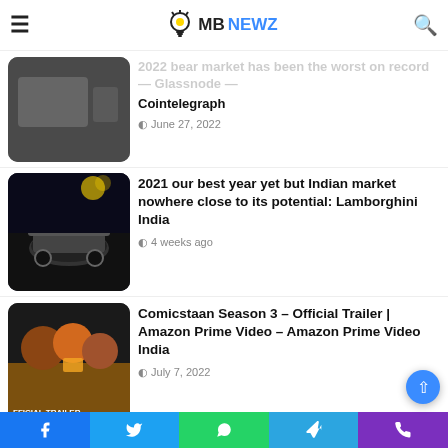MB NEWZ
2022 bear market has been the worst on record — Glassnode — Cointelegraph
June 27, 2022
2021 our best year yet but Indian market nowhere close to its potential: Lamborghini India
4 weeks ago
Comicstaan Season 3 – Official Trailer | Amazon Prime Video – Amazon Prime Video India
July 7, 2022
All you need to know about the hottest web series on OTT
2 weeks ago
M2 MacBook Air or M1 iPad Pro? Mak…